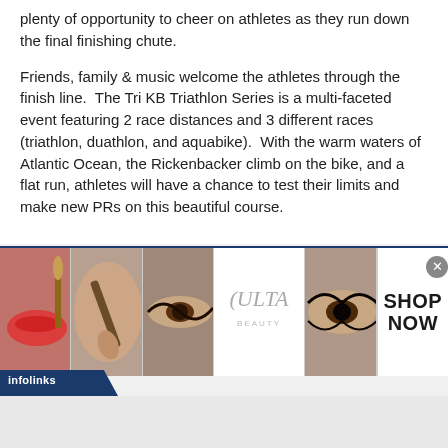plenty of opportunity to cheer on athletes as they run down the final finishing chute.
Friends, family & music welcome the athletes through the finish line.  The Tri KB Triathlon Series is a multi-faceted event featuring 2 race distances and 3 different races (triathlon, duathlon, and aquabike).  With the warm waters of Atlantic Ocean, the Rickenbacker climb on the bike, and a flat run, athletes will have a chance to test their limits and make new PRs on this beautiful course.
[Figure (advertisement): Infolinks advertisement banner featuring Ulta Beauty makeup images and SHOP NOW call to action]